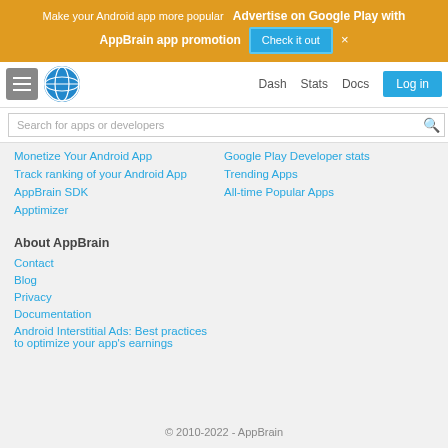Make your Android app more popular  Advertise on Google Play with AppBrain app promotion  Check it out  ×
[Figure (screenshot): AppBrain navigation bar with hamburger menu, globe logo, Dash, Stats, Docs links and Log in button]
Search for apps or developers
Monetize Your Android App
Google Play Developer stats
Track ranking of your Android App
Trending Apps
AppBrain SDK
All-time Popular Apps
Apptimizer
About AppBrain
Contact
Blog
Privacy
Documentation
Android Interstitial Ads: Best practices to optimize your app's earnings
© 2010-2022 - AppBrain